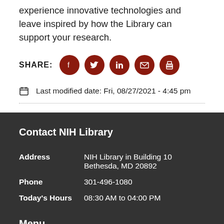experience innovative technologies and leave inspired by how the Library can support your research.
SHARE: [Facebook] [Twitter] [LinkedIn] [Email] [Print]
Last modified date: Fri, 08/27/2021 - 4:45 pm
Contact NIH Library
| Address | NIH Library in Building 10 Bethesda, MD 20892 |
| Phone | 301-496-1080 |
| Today's Hours | 08:30 AM to 04:00 PM |
Menu
Resources